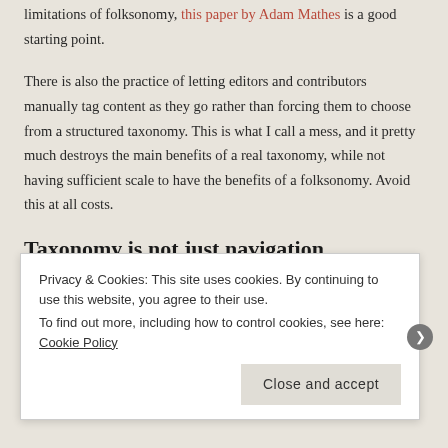limitations of folksonomy, this paper by Adam Mathes is a good starting point.
There is also the practice of letting editors and contributors manually tag content as they go rather than forcing them to choose from a structured taxonomy. This is what I call a mess, and it pretty much destroys the main benefits of a real taxonomy, while not having sufficient scale to have the benefits of a folksonomy. Avoid this at all costs.
Taxonomy is not just navigation
Terms (or categories) may be used for navigation elements, ad serving, site search, and related article recommendation. So,
Privacy & Cookies: This site uses cookies. By continuing to use this website, you agree to their use.
To find out more, including how to control cookies, see here: Cookie Policy